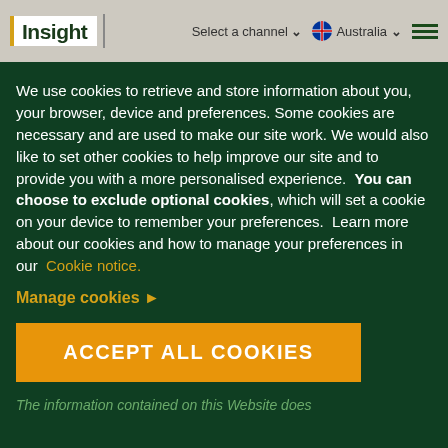Select a channel ▾   🇦🇺 Australia ▾   Insight Investment
We use cookies to retrieve and store information about you, your browser, device and preferences. Some cookies are necessary and are used to make our site work. We would also like to set other cookies to help improve our site and to provide you with a more personalised experience. You can choose to exclude optional cookies, which will set a cookie on your device to remember your preferences. Learn more about our cookies and how to manage your preferences in our Cookie notice.
Manage cookies ▶
ACCEPT ALL COOKIES
The information contained on this Website does